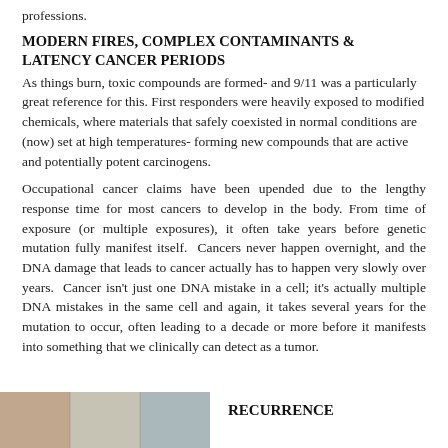professions.
MODERN FIRES, COMPLEX CONTAMINANTS & LATENCY CANCER PERIODS
As things burn, toxic compounds are formed- and 9/11 was a particularly great reference for this. First responders were heavily exposed to modified chemicals, where materials that safely coexisted in normal conditions are (now) set at high temperatures- forming new compounds that are active and potentially potent carcinogens.
Occupational cancer claims have been upended due to the lengthy response time for most cancers to develop in the body. From time of exposure (or multiple exposures), it often take years before genetic mutation fully manifest itself.  Cancers never happen overnight, and the DNA damage that leads to cancer actually has to happen very slowly over years.  Cancer isn't just one DNA mistake in a cell; it's actually multiple DNA mistakes in the same cell and again, it takes several years for the mutation to occur, often leading to a decade or more before it manifests into something that we clinically can detect as a tumor.
[Figure (photo): Photo/image at bottom left of page, partially visible]
RECURRENCE